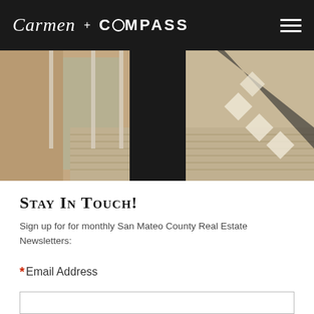Carmen + COMPASS
[Figure (photo): Outdoor deck/balcony scene with vertical railings and diagonal shadows, showing wooden decking and a dark silhouette figure, taken in bright sunlight]
Stay In Touch!
Sign up for for monthly San Mateo County Real Estate Newsletters:
* Email Address